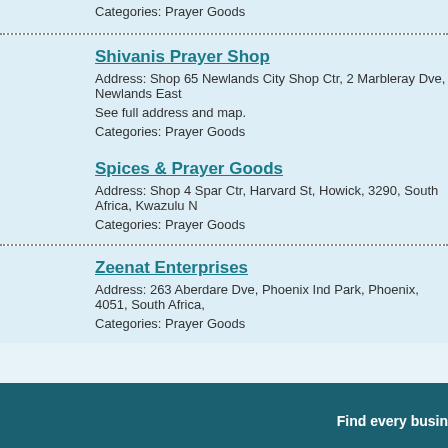Categories: Prayer Goods
Shivanis Prayer Shop
Address: Shop 65 Newlands City Shop Ctr, 2 Marbleray Dve, Newlands East
See full address and map.
Categories: Prayer Goods
Spices & Prayer Goods
Address: Shop 4 Spar Ctr, Harvard St, Howick, 3290, South Africa, Kwazulu N
Categories: Prayer Goods
Zeenat Enterprises
Address: 263 Aberdare Dve, Phoenix Ind Park, Phoenix, 4051, South Africa,
Categories: Prayer Goods
Find every busin...
about | contact |